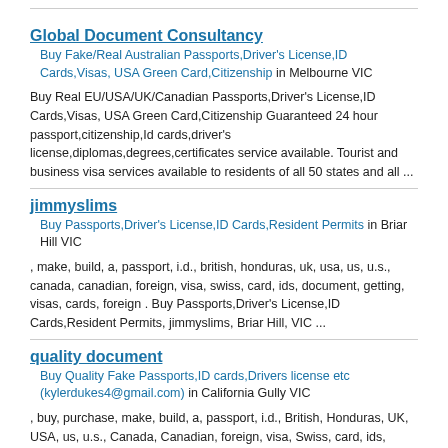Global Document Consultancy
Buy Fake/Real Australian Passports,Driver's License,ID Cards,Visas, USA Green Card,Citizenship in Melbourne VIC
Buy Real EU/USA/UK/Canadian Passports,Driver's License,ID Cards,Visas, USA Green Card,Citizenship Guaranteed 24 hour passport,citizenship,Id cards,driver's license,diplomas,degrees,certificates service available. Tourist and business visa services available to residents of all 50 states and all ...
jimmyslims
Buy Passports,Driver's License,ID Cards,Resident Permits in Briar Hill VIC
, make, build, a, passport, i.d., british, honduras, uk, usa, us, u.s., canada, canadian, foreign, visa, swiss, card, ids, document, getting, visas, cards, foreign . Buy Passports,Driver's License,ID Cards,Resident Permits, jimmyslims, Briar Hill, VIC ...
quality document
Buy Quality Fake Passports,ID cards,Drivers license etc (kylerdukes4@gmail.com) in California Gully VIC
, buy, purchase, make, build, a, passport, i.d., British, Honduras, UK, USA, us, u.s., Canada, Canadian, foreign, visa, Swiss, card, ids, document, getting,visas, cards, foreign . Buy Quality Fake Passports,ID cards,Drivers license etc (kylerdukes4@gmail.com), quality document, California Gully, VIC ...